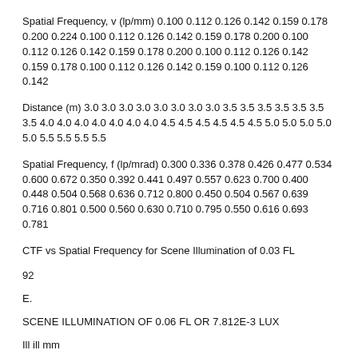Spatial Frequency, v (lp/mm) 0.100 0.112 0.126 0.142 0.159 0.178 0.200 0.224 0.100 0.112 0.126 0.142 0.159 0.178 0.200 0.100 0.112 0.126 0.142 0.159 0.178 0.200 0.100 0.112 0.126 0.142 0.159 0.178 0.100 0.112 0.126 0.142 0.159 0.100 0.112 0.126 0.142
Distance (m) 3.0 3.0 3.0 3.0 3.0 3.0 3.0 3.0 3.5 3.5 3.5 3.5 3.5 3.5 3.5 4.0 4.0 4.0 4.0 4.0 4.0 4.0 4.5 4.5 4.5 4.5 4.5 4.5 5.0 5.0 5.0 5.0 5.0 5.5 5.5 5.5 5.5
Spatial Frequency, f (lp/mrad) 0.300 0.336 0.378 0.426 0.477 0.534 0.600 0.672 0.350 0.392 0.441 0.497 0.557 0.623 0.700 0.400 0.448 0.504 0.568 0.636 0.712 0.800 0.450 0.504 0.567 0.639 0.716 0.801 0.500 0.560 0.630 0.710 0.795 0.550 0.616 0.693 0.781
CTF vs Spatial Frequency for Scene Illumination of 0.03 FL
92
E.
SCENE ILLUMINATION OF 0.06 FL OR 7.812E-3 LUX
Ill ill mm